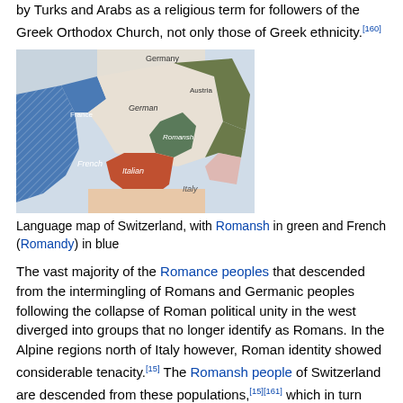by Turks and Arabs as a religious term for followers of the Greek Orthodox Church, not only those of Greek ethnicity.[160]
[Figure (map): Language map of Switzerland showing Romansh region in green, French region (Romandy) in blue, German region in white/light, Italian region in orange-red, and Austria in olive/dark green. Neighboring countries France, Germany, Austria, Italy are labeled.]
Language map of Switzerland, with Romansh in green and French (Romandy) in blue
The vast majority of the Romance peoples that descended from the intermingling of Romans and Germanic peoples following the collapse of Roman political unity in the west diverged into groups that no longer identify as Romans. In the Alpine regions north of Italy however, Roman identity showed considerable tenacity.[15] The Romansh people of Switzerland are descended from these populations,[15][161] which in turn were descended from Romanised Rhaetians.[161] Though most of the Romans of the region were assimilated by the Germanic tribes that settled there during the 5th and 6th centuries, the people who resisted